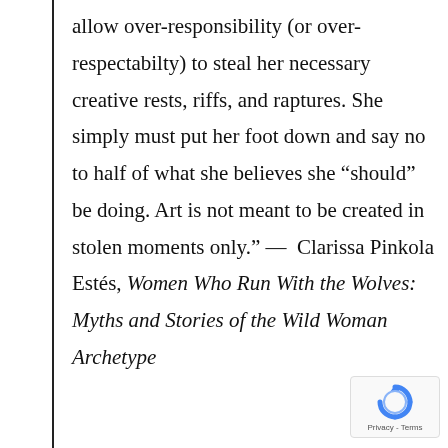allow over-responsibility (or over-respectabilty) to steal her necessary creative rests, riffs, and raptures. She simply must put her foot down and say no to half of what she believes she “should” be doing. Art is not meant to be created in stolen moments only.” — Clarissa Pinkola Estés, Women Who Run With the Wolves: Myths and Stories of the Wild Woman Archetype
[Figure (other): reCAPTCHA logo badge with Privacy and Terms text]